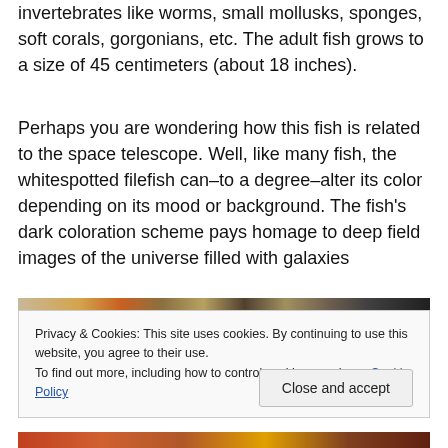invertebrates like worms, small mollusks, sponges, soft corals, gorgonians, etc. The adult fish grows to a size of 45 centimeters (about 18 inches).
Perhaps you are wondering how this fish is related to the space telescope. Well, like many fish, the whitespotted filefish can–to a degree–alter its color depending on its mood or background. The fish's dark coloration scheme pays homage to deep field images of the universe filled with galaxies
[Figure (photo): Partial view of marine life / coral reef scene with colorful underwater organisms]
Privacy & Cookies: This site uses cookies. By continuing to use this website, you agree to their use.
To find out more, including how to control cookies, see here: Cookie Policy
Close and accept
[Figure (photo): Bottom strip showing colorful underwater/marine scene]